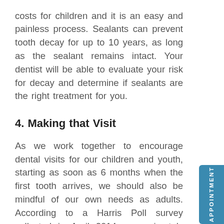costs for children and it is an easy and painless process. Sealants can prevent tooth decay for up to 10 years, as long as the sealant remains intact. Your dentist will be able to evaluate your risk for decay and determine if sealants are the right treatment for you.
4. Making that Visit
As we work together to encourage dental visits for our children and youth, starting as soon as 6 months when the first tooth arrives, we should also be mindful of our own needs as adults. According to a Harris Poll survey collected in April 2014, approximately 22.9% of adults indicated they were not sure or were not planning